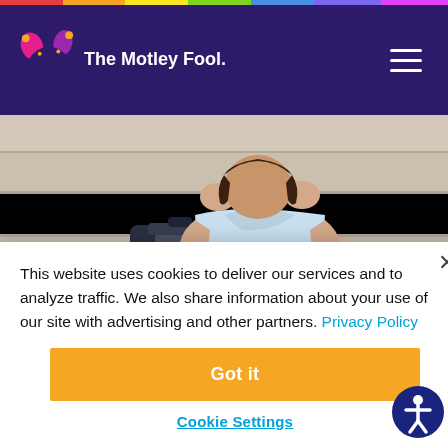The Motley Fool
[Figure (photo): A stressed student sitting on stone stairs with a backpack and books beside her, head in hands, wearing a light blue top and jeans with rolled cuffs and black sneakers.]
This website uses cookies to deliver our services and to analyze traffic. We also share information about your use of our site with advertising and other partners. Privacy Policy
Got it
Cookie Settings